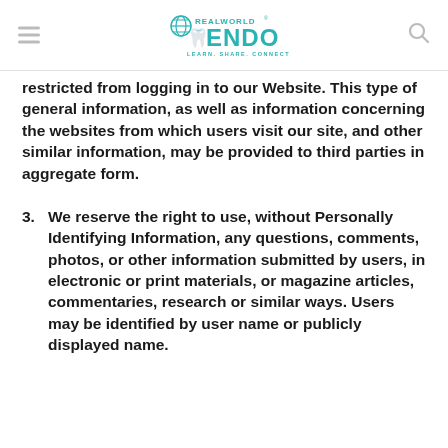REALWORLD ENDO — LEARN. SHARE. CONNECT. GET REAL!
restricted from logging in to our Website. This type of general information, as well as information concerning the websites from which users visit our site, and other similar information, may be provided to third parties in aggregate form.
3. We reserve the right to use, without Personally Identifying Information, any questions, comments, photos, or other information submitted by users, in electronic or print materials, or magazine articles, commentaries, research or similar ways. Users may be identified by user name or publicly displayed name.